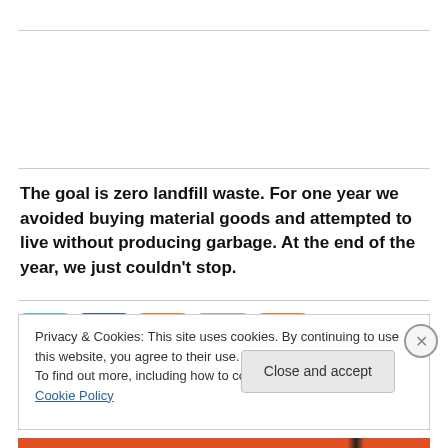The goal is zero landfill waste. For one year we avoided buying material goods and attempted to live without producing garbage. At the end of the year, we just couldn't stop.
[Figure (infographic): Row of social media icons: Twitter (blue bird logo), Facebook (blue f logo), RSS (orange feed icon), Contact (envelope icon on grey background), Hotjar/Fire (orange flame icon)]
Privacy & Cookies: This site uses cookies. By continuing to use this website, you agree to their use. To find out more, including how to control cookies, see here: Cookie Policy